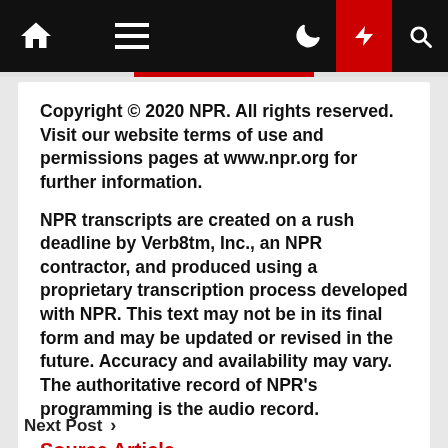NPR navigation bar with home, menu, night mode, lightning/breaking, and search icons
Copyright © 2020 NPR. All rights reserved. Visit our website terms of use and permissions pages at www.npr.org for further information.
NPR transcripts are created on a rush deadline by Verb8tm, Inc., an NPR contractor, and produced using a proprietary transcription process developed with NPR. This text may not be in its final form and may be updated or revised in the future. Accuracy and availability may vary. The authoritative record of NPR's programming is the audio record.
Source Article
Next Post >